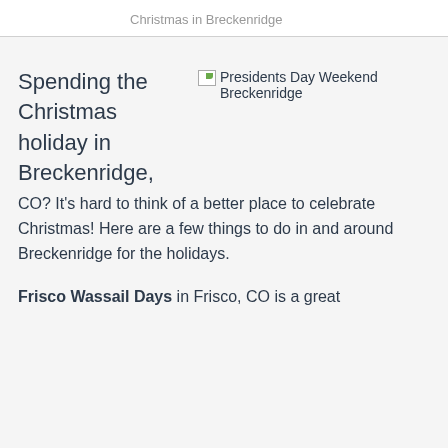Christmas in Breckenridge
Spending the Christmas holiday in Breckenridge, CO? It's hard to think of a better place to celebrate Christmas! Here are a few things to do in and around Breckenridge for the holidays.
[Figure (photo): Broken image placeholder labeled 'Presidents Day Weekend Breckenridge']
Frisco Wassail Days in Frisco, CO is a great